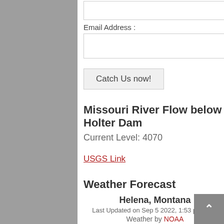Email Address :
Catch Us now!
Missouri River Flow below Holter Dam
Current Level: 4070
USGS Link
Weather Forecast
Helena, Montana
Last Updated on Sep 5 2022, 1:53 pm MDT
Weather by NOAA